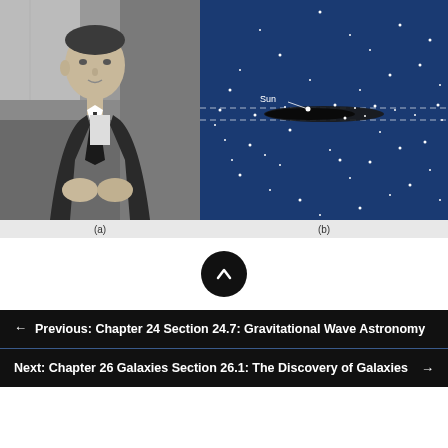[Figure (photo): Black and white portrait photograph of a man in a suit, seated]
[Figure (other): Dark blue astronomical diagram showing scattered white dots (stars/globular clusters) with the Sun labeled and two dashed horizontal lines indicating the galactic plane. A dark elongated shape represents the Milky Way disk.]
(a)
(b)
[Figure (other): Circular black button with upward-pointing arrow (scroll to top)]
← Previous: Chapter 24 Section 24.7: Gravitational Wave Astronomy
Next: Chapter 26 Galaxies Section 26.1: The Discovery of Galaxies →